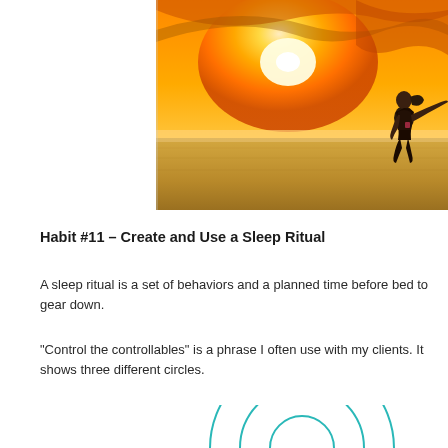[Figure (photo): Woman silhouetted against a bright orange and yellow sunset sky, arms outstretched over a field landscape.]
Habit #11 – Create and Use a Sleep Ritual
A sleep ritual is a set of behaviors and a planned time before bed to gear down.
“Control the controllables” is a phrase I often use with my clients. It shows three different circles.
[Figure (illustration): Partial view of concentric teal/turquoise circles diagram at the bottom of the page.]